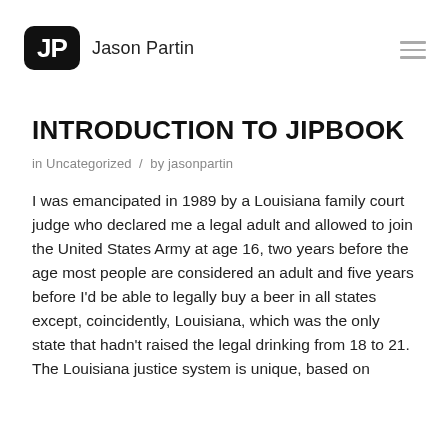Jason Partin
INTRODUCTION TO JIPBOOK
in Uncategorized / by jasonpartin
I was emancipated in 1989 by a Louisiana family court judge who declared me a legal adult and allowed to join the United States Army at age 16, two years before the age most people are considered an adult and five years before I'd be able to legally buy a beer in all states except, coincidently, Louisiana, which was the only state that hadn't raised the legal drinking from 18 to 21. The Louisiana justice system is unique, based on